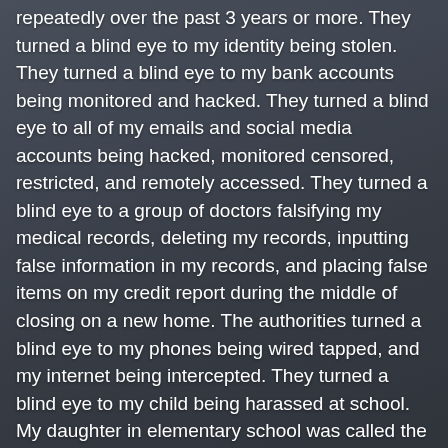repeatedly over the past 3 years or more. They turned a blind eye to my identity being stolen. They turned a blind eye to my bank accounts being monitored and hacked. They turned a blind eye to all of my emails and social media accounts being hacked, monitored censored, restricted, and remotely accessed. They turned a blind eye to a group of doctors falsifying my medical records, deleting my records, inputting false information in my records, and placing false items on my credit report during the middle of closing on a new home. The authorities turned a blind eye to my phones being wired tapped, and my internet being intercepted. They turned a blind eye to my child being harassed at school. My daughter in elementary school was called the same name that I was called in the privacy of my own home the day before, which shows that I'm being illegally recorded. They turned a blind eye to multiple organizations tampering with my money. Comcast even stole $600 from my bank account and asked to see my bank statement in order to get my